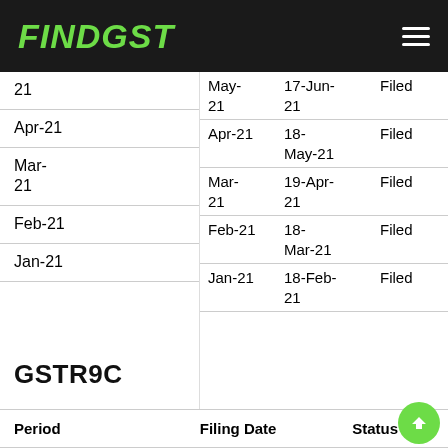FINDGST
| Period |
| --- |
| 21 |
| Apr-21 |
| Mar-21 |
| Feb-21 |
| Jan-21 |
| Period | Filing Date | Status |
| --- | --- | --- |
| May-21 | 17-Jun-21 | Filed |
| Apr-21 | 18-May-21 | Filed |
| Mar-21 | 19-Apr-21 | Filed |
| Feb-21 | 18-Mar-21 | Filed |
| Jan-21 | 18-Feb-21 | Filed |
GSTR9C
| Period | Filing Date | Status |
| --- | --- | --- |